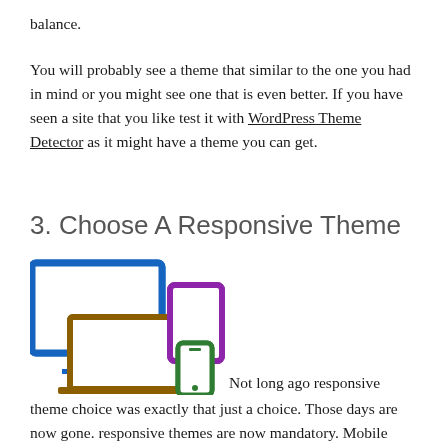balance.
You will probably see a theme that similar to the one you had in mind or you might see one that is even better. If you have seen a site that you like test it with WordPress Theme Detector as it might have a theme you can get.
3. Choose A Responsive Theme
[Figure (illustration): Icons of responsive devices: desktop monitor (blue), laptop (brown/orange), tablet (purple), and smartphone (green)]
Not long ago responsive theme choice was exactly that just a choice. Those days are now gone. responsive themes are now mandatory. Mobile traffic has surpassed pc traffic on the web years ago, so theme choice and theme design should think